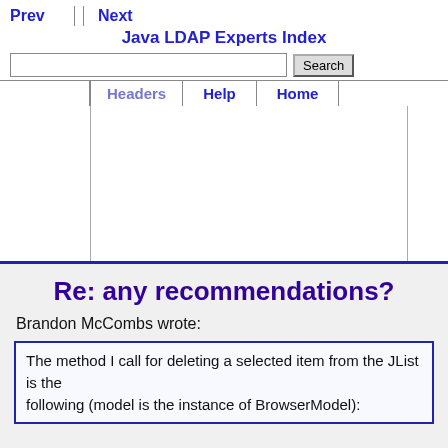Prev   Next   Java LDAP Experts Index
Re: any recommendations?
Brandon McCombs wrote:
The method I call for deleting a selected item from the JList is the following (model is the instance of BrowserModel):